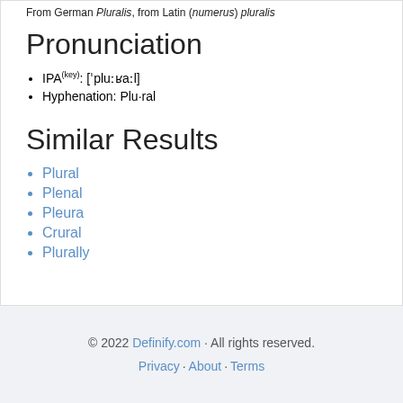From German Pluralis, from Latin (numerus) pluralis
Pronunciation
IPA(key): [ˈpluːʁaːl]
Hyphenation: Plu·ral
Similar Results
Plural
Plenal
Pleura
Crural
Plurally
© 2022 Definify.com · All rights reserved. Privacy · About · Terms